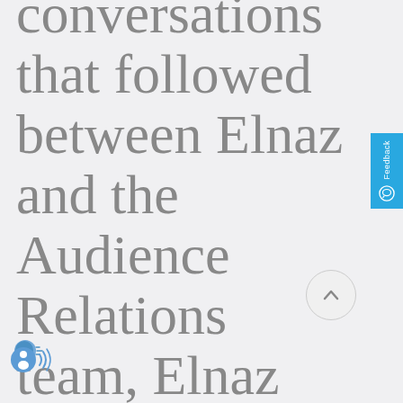conversations that followed between Elnaz and the Audience Relations team, Elnaz wanted to know more about the story of I...
[Figure (other): Blue vertical Feedback tab on right edge with chat bubble icon]
[Figure (other): Circular scroll-up button with upward arrow]
[Figure (other): Speaker/audio icon with sound waves at bottom left]